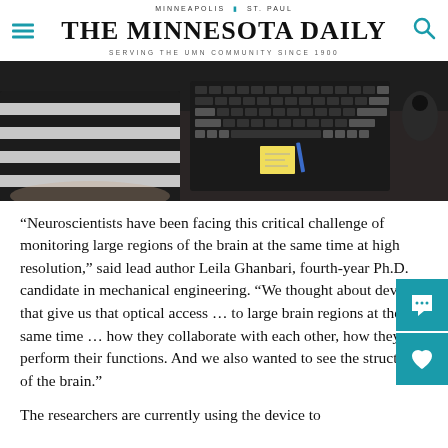MINNEAPOLIS | ST. PAUL
THE MINNESOTA DAILY
SERVING THE UMN COMMUNITY SINCE 1900
[Figure (photo): A person in a striped long-sleeve shirt sitting at a desk with a keyboard and computer peripherals, viewed from above at an angle]
“Neuroscientists have been facing this critical challenge of monitoring large regions of the brain at the same time at high resolution,” said lead author Leila Ghanbari, fourth-year Ph.D. candidate in mechanical engineering. “We thought about devices that give us that optical access … to large brain regions at the same time … how they collaborate with each other, how they perform their functions. And we also wanted to see the structure of the brain.”
The researchers are currently using the device to